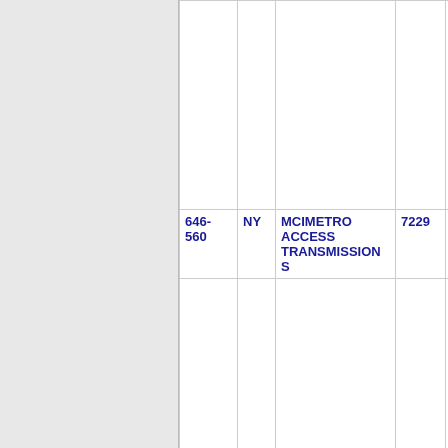| NPA-NXX | State | Company | OCN | LATA |
| --- | --- | --- | --- | --- |
| 646-560 | NY | MCIMETRO ACCESS TRANSMISSIONS | 7229 | NWY |